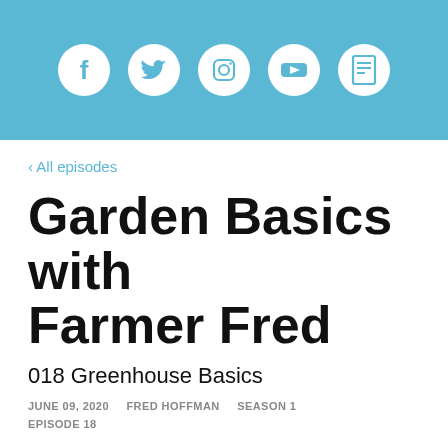[Figure (other): Header bar with social media icons: Facebook, Twitter, Instagram, YouTube, and one more (Ravelry/bookmark icon), white icons on teal/blue background]
‹ All episodes
Garden Basics with Farmer Fred
018 Greenhouse Basics
JUNE 09, 2020    FRED HOFFMAN    SEASON 1    EPISODE 18
[Figure (screenshot): Podcast player widget showing 'Garden Basics with Farmer Fred' and '018 Greenhouse Bas' title, with a URL bar at the bottom]